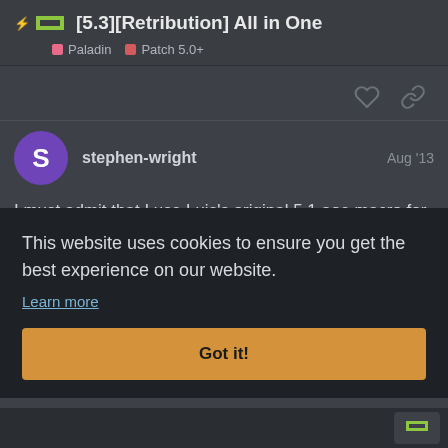[5.3][Retribution] All in One — Paladin | Patch 5.0+
stephen-wright  Aug '13
I must admit that I use Luis's original 5.1 aoe macro for exactly that reason Michael. It is very hard to stretch my fi... in a ...st my ...ng ...s the
This website uses cookies to ensure you get the best experience on our website.
Learn more
Got it!